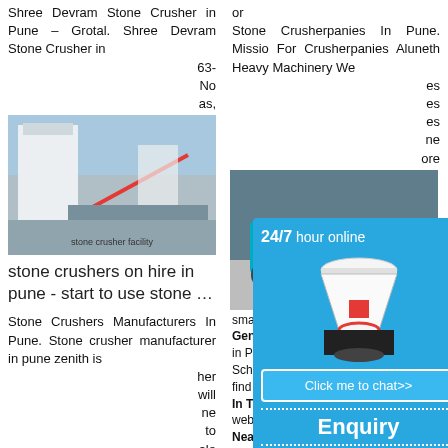Shree Devram Stone Crusher in Pune – Grotal. Shree Devram Stone Crusher in
63- No as,
[Figure (photo): Industrial stone crusher facility with conveyor belts and hoppers against mountain backdrop]
stone crushers on hire in pune - start to use stone …
Stone Crushers Manufacturers In Pune. Stone crusher manufacturer in pune zenith is
her will ne to ale cle
[Figure (photo): Orange stone crusher machine at industrial site]
size the cost of
small stone crusher machine
or
Stone Crusherpanies In Pune. Missio For Crusherpanies Aluneth Heavy Machinery We
es es es ne ore
[Figure (photo): Teal/cyan colored mobile stone crusher machine on rocky terrain]
small Stor Genesis in Pune is School, b find an In Top M website
NearKha Crusherpanies Kenchwa of 411048,
[Figure (photo): Construction rubble and stone crushing site]
dealers o
[Figure (infographic): 24/7 hour online chat overlay with white cone crusher image, click me to chat button, Enquiry section, and limingjlmofen text on blue background]